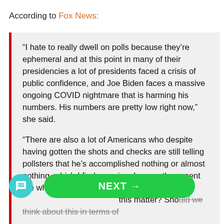According to Fox News:
“I hate to really dwell on polls because they’re ephemeral and at this point in many of their presidencies a lot of presidents faced a crisis of public confidence, and Joe Biden faces a massive ongoing COVID nightmare that is harming his numbers. His numbers are pretty low right now,” she said.

“There are also a lot of Americans who despite having gotten the shots and checks are still telling pollsters that he’s accomplished nothing or almost nothing, which I find amazing. I guess they spent the whole $2,000 and now they’re not happy about this matter? Should we think about this in terms of